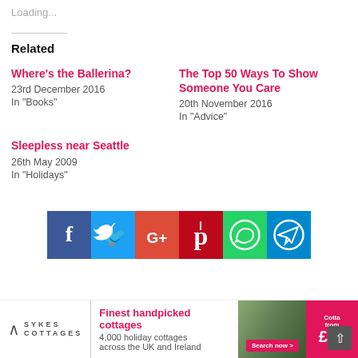Loading...
Related
Where's the Ballerina?
23rd December 2016
In "Books"
The Top 50 Ways To Show Someone You Care
20th November 2016
In "Advice"
Sleepless near Seattle
26th May 2009
In "Holidays"
[Figure (other): Social sharing buttons: Facebook, Twitter, Google+, Pinterest, WhatsApp, Telegram]
[Figure (other): Sykes Cottages advertisement: Finest handpicked cottages, 4,000 holiday cottages across the UK and Ireland, Search now, Cottages from £17]